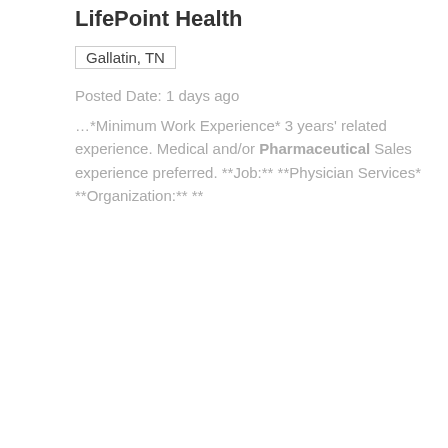LifePoint Health
Gallatin, TN
Posted Date: 1 days ago
…*Minimum Work Experience* 3 years' related experience. Medical and/or Pharmaceutical Sales experience preferred. **Job:** **Physician Services* **Organization:** **
Marketing Liaison
Greystone Health
Brooklyn, NY
Posted Date: 1 days ago
…or commensurate education is preferred + Knowledge of value based selling +